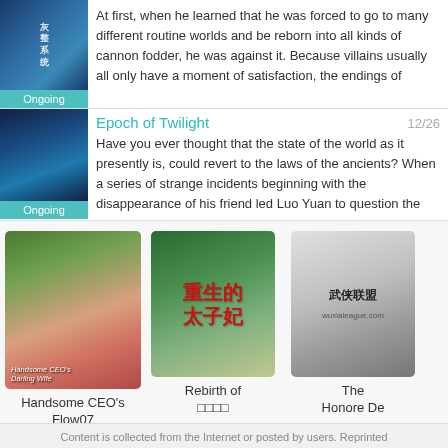At first, when he learned that he was forced to go to many different routine worlds and be reborn into all kinds of cannon fodder, he was against it. Because villains usually all only have a moment of satisfaction, the endings of
Epoch of Twilight
12/26
Have you ever thought that the state of the world as it presently is, could revert to the laws of the ancients? When a series of strange incidents beginning with the disappearance of his friend led Luo Yuan to question the
[Figure (illustration): Book cover for Handsome CEO's Darling Wife - portrait of a young woman]
Handsome CEO's Darling Wife
Flow07
[Figure (illustration): Book cover with Chinese characters for Rebirth novel]
Rebirth of
□□□□
[Figure (illustration): Book cover for The Honorable De - martial arts themed black and white image]
The
Honore De
Content is collected from the Internet or posted by users. Reprinted